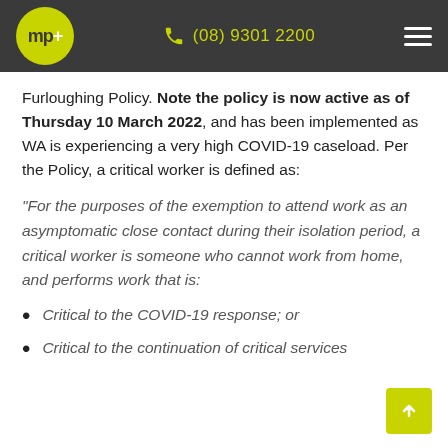mp+ | (08) 9301 2200
Furloughing Policy. Note the policy is now active as of Thursday 10 March 2022, and has been implemented as WA is experiencing a very high COVID-19 caseload. Per the Policy, a critical worker is defined as:
"For the purposes of the exemption to attend work as an asymptomatic close contact during their isolation period, a critical worker is someone who cannot work from home, and performs work that is:
Critical to the COVID-19 response; or
Critical to the continuation of critical services